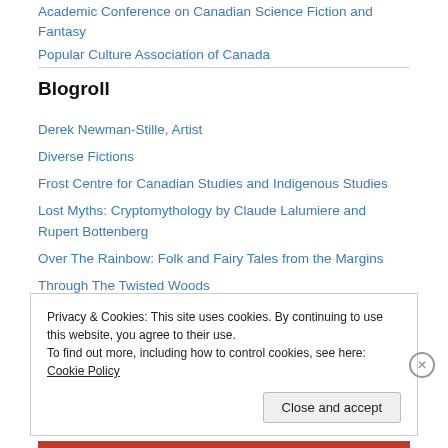Academic Conference on Canadian Science Fiction and Fantasy
Popular Culture Association of Canada
Blogroll
Derek Newman-Stille, Artist
Diverse Fictions
Frost Centre for Canadian Studies and Indigenous Studies
Lost Myths: Cryptomythology by Claude Lalumiere and Rupert Bottenberg
Over The Rainbow: Folk and Fairy Tales from the Margins
Through The Twisted Woods
Privacy & Cookies: This site uses cookies. By continuing to use this website, you agree to their use. To find out more, including how to control cookies, see here: Cookie Policy
Close and accept